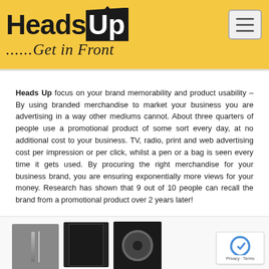[Figure (logo): Heads Up logo with tagline '......Get in Front' on a yellow/golden background with a hamburger menu button]
Heads Up focus on your brand memorability and product usability – By using branded merchandise to market your business you are advertising in a way other mediums cannot. About three quarters of people use a promotional product of some sort every day, at no additional cost to your business. TV, radio, print and web advertising cost per impression or per click, whilst a pen or a bag is seen every time it gets used. By procuring the right merchandise for your business brand, you are ensuring exponentially more views for your money. Research has shown that 9 out of 10 people can recall the brand from a promotional product over 2 years later!
[Figure (photo): Bottom strip showing promotional merchandise items including what appears to be pens, wallets/phone cases, and a speaker on a light background]